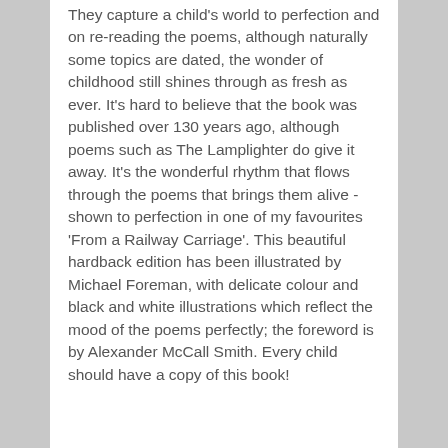They capture a child's world to perfection and on re-reading the poems, although naturally some topics are dated, the wonder of childhood still shines through as fresh as ever. It's hard to believe that the book was published over 130 years ago, although poems such as The Lamplighter do give it away. It's the wonderful rhythm that flows through the poems that brings them alive - shown to perfection in one of my favourites 'From a Railway Carriage'. This beautiful hardback edition has been illustrated by Michael Foreman, with delicate colour and black and white illustrations which reflect the mood of the poems perfectly; the foreword is by Alexander McCall Smith. Every child should have a copy of this book!